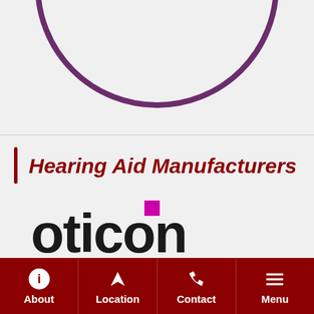[Figure (illustration): Partial view of a circular/arc shape in purple at the top of the page]
Hearing Aid Manufacturers
Hearing aids are designed for all types of hearing loss, lifestyles and budgets. We work with the following manufacturers to provide you with a custom, first-rate solution for your hearing loss.
[Figure (logo): Oticon brand logo in dark/black text with a magenta/pink square dot above the letter i]
About  Location  Contact  Menu